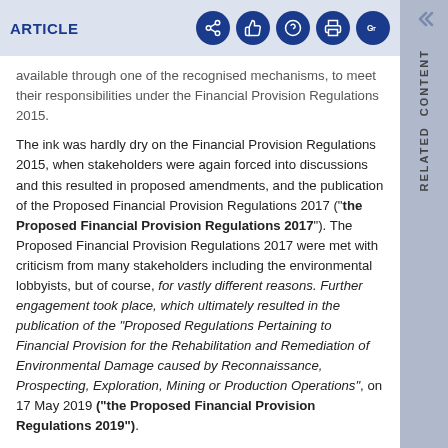ARTICLE
available through one of the recognised mechanisms, to meet their responsibilities under the Financial Provision Regulations 2015.
The ink was hardly dry on the Financial Provision Regulations 2015, when stakeholders were again forced into discussions and this resulted in proposed amendments, and the publication of the Proposed Financial Provision Regulations 2017 ("the Proposed Financial Provision Regulations 2017"). The Proposed Financial Provision Regulations 2017 were met with criticism from many stakeholders including the environmental lobbyists, but of course, for vastly different reasons. Further engagement took place, which ultimately resulted in the publication of the "Proposed Regulations Pertaining to Financial Provision for the Rehabilitation and Remediation of Environmental Damage caused by Reconnaissance, Prospecting, Exploration, Mining or Production Operations", on 17 May 2019 ("the Proposed Financial Provision Regulations 2019").